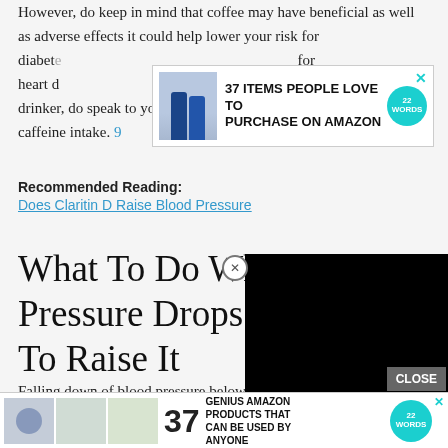However, do keep in mind that coffee may have beneficial as well as adverse effects it could help lower your risk for diabetes, ... for heart disease ... coffee drinker, do speak to your doctor before increasing your caffeine intake. 9
[Figure (screenshot): Advertisement banner: '37 ITEMS PEOPLE LOVE TO PURCHASE ON AMAZON' with product image and 22 Words badge, with X close button]
Recommended Reading:
Does Claritin D Raise Blood Pressure
What To Do When Pressure Drops To... To Raise It
[Figure (screenshot): Black video overlay rectangle with close (X) circle button]
Falling down of blood pressure below the normal is referred to as... normo...
[Figure (screenshot): CLOSE button and bottom advertisement bar: '37 GENIUS AMAZON PRODUCTS THAT CAN BE USED BY ANYONE' with thumbnail images and 22 Words badge]